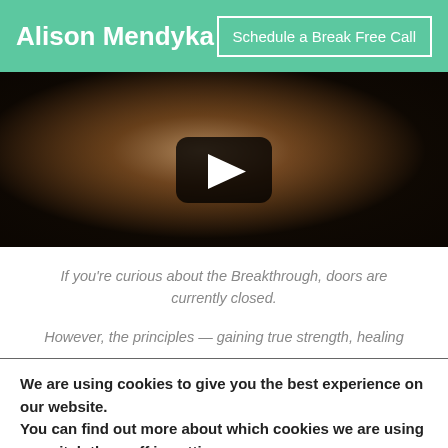Alison Mendyka   Schedule a Break Free Call
[Figure (screenshot): A video player thumbnail showing a person making a peace sign gesture, with a YouTube-style play button overlay on a dark background.]
If you're curious about the Breakthrough, doors are currently closed.
However, the principles — gaining true strength, healing
We are using cookies to give you the best experience on our website.
You can find out more about which cookies we are using or switch them off in settings.
Got it!